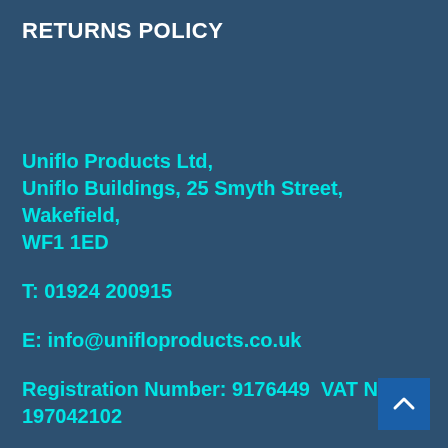RETURNS POLICY
Uniflo Products Ltd,
Uniflo Buildings, 25 Smyth Street, Wakefield, WF1 1ED
T: 01924 200915
E: info@unifloproducts.co.uk
Registration Number: 9176449  VAT No: 197042102
Web Design by Beanie Media